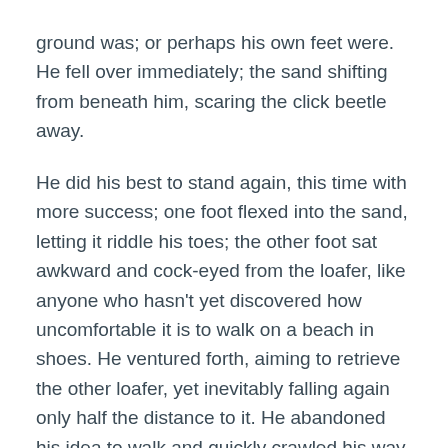ground was; or perhaps his own feet were. He fell over immediately; the sand shifting from beneath him, scaring the click beetle away.
He did his best to stand again, this time with more success; one foot flexed into the sand, letting it riddle his toes; the other foot sat awkward and cock-eyed from the loafer, like anyone who hasn't yet discovered how uncomfortable it is to walk on a beach in shoes. He ventured forth, aiming to retrieve the other loafer, yet inevitably falling again only half the distance to it. He abandoned his idea to walk and quickly crawled his way to the shoe, promptly putting it on when he reclaimed it. He stood again with the feeling of accomplishment and humanity. At least he had his shoes.
The beach's song was soothing, and its repetitive